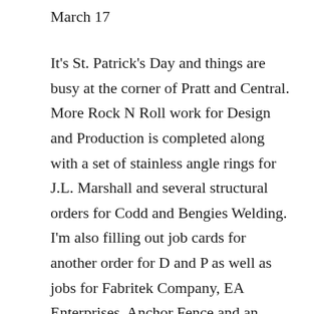March 17
It's St. Patrick's Day and things are busy at the corner of Pratt and Central. More Rock N Roll work for Design and Production is completed along with a set of stainless angle rings for J.L. Marshall and several structural orders for Codd and Bengies Welding. I'm also filling out job cards for another order for D and P as well as jobs for Fabritek Company, EA Enterprises, Anchor Fence and an EDCO regular order. Equipment Development Corporation's pipe and rod rings is a recurring job we receive once or twice a year. On the personal side, plans continue for Kim and my wedding. Long lists are made on yellow pads. They are checked and re-checked while the specifics of menu and entertainment are discussed. It's a little over six months